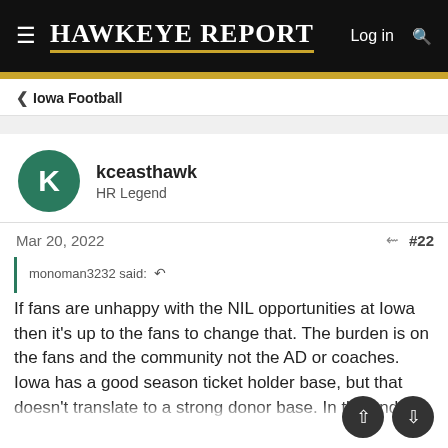Hawkeye Report — Log in
Iowa Football
kceasthawk
HR Legend
Mar 20, 2022   #22
monoman3232 said:
If fans are unhappy with the NIL opportunities at Iowa then it's up to the fans to change that. The burden is on the fans and the community not the AD or coaches. Iowa has a good season ticket holder base, but that doesn't translate to a strong donor base. In the end, I don't think it's going to help with more money donated.